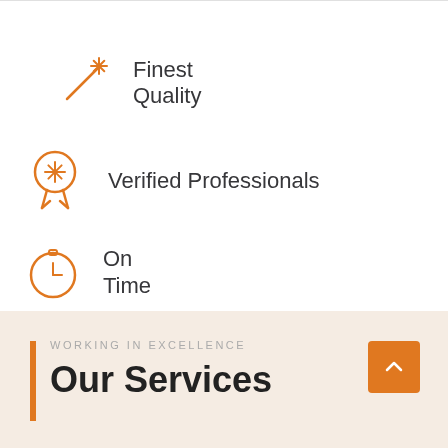Finest Quality
Verified Professionals
On Time
WORKING IN EXCELLENCE
Our Services